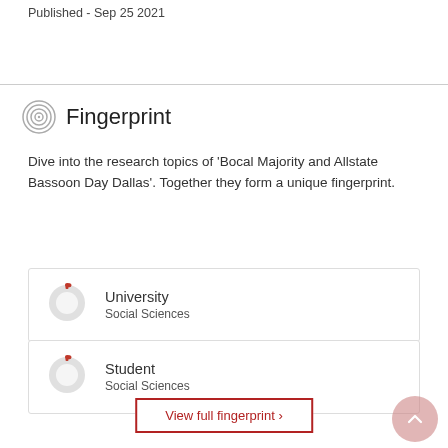Published - Sep 25 2021
Fingerprint
Dive into the research topics of 'Bocal Majority and Allstate Bassoon Day Dallas'. Together they form a unique fingerprint.
University
Social Sciences
Student
Social Sciences
View full fingerprint ›